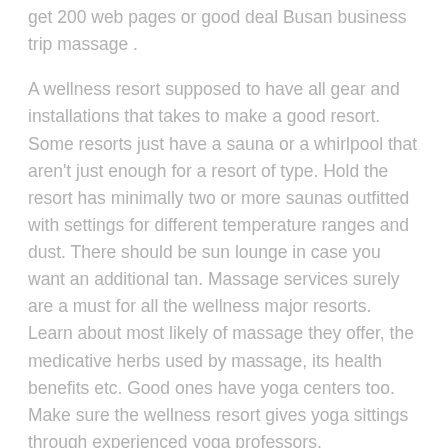get 200 web pages or good deal Busan business trip massage .
A wellness resort supposed to have all gear and installations that takes to make a good resort. Some resorts just have a sauna or a whirlpool that aren't just enough for a resort of type. Hold the resort has minimally two or more saunas outfitted with settings for different temperature ranges and dust. There should be sun lounge in case you want an additional tan. Massage services surely are a must for all the wellness major resorts. Learn about most likely of massage they offer, the medicative herbs used by massage, its health benefits etc. Good ones have yoga centers too. Make sure the wellness resort gives yoga sittings through experienced yoga professors.
Whichever you choose, therefore feel less stressed in addition to energetic on condition that all your back muscles and your spine are usually stimulated also as your blood flow will be improved. The massage chair is as